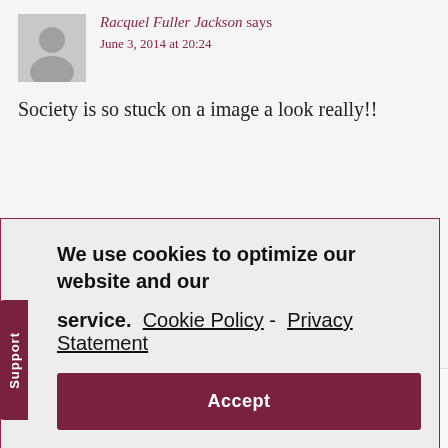[Figure (illustration): Gray avatar silhouette placeholder image for user Racquel Fuller Jackson]
Racquel Fuller Jackson says
June 3, 2014 at 20:24
Society is so stuck on a image a look really!!
We use cookies to optimize our website and our service.  Cookie Policy - Privacy Statement
Accept
[Figure (illustration): Gray avatar silhouette placeholder image for user Brianna Nicolas]
Brianna Nicolas says
June 3, 2014 at 20:24